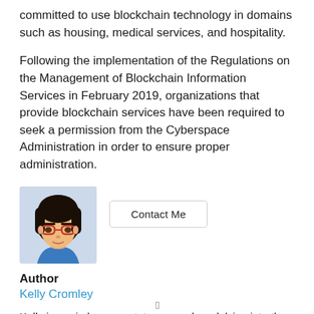committed to use blockchain technology in domains such as housing, medical services, and hospitality.
Following the implementation of the Regulations on the Management of Blockchain Information Services in February 2019, organizations that provide blockchain services have been required to seek a permission from the Cyberspace Administration in order to ensure proper administration.
[Figure (illustration): Cartoon illustration of a woman with dark hair and red glasses, wearing a blue top. Avatar-style portrait.]
Contact Me
Author
Kelly Cromley
Kelly is our in house crytpto researcher, delving into the stories which matter from blockchains being used in the real world to new ico coming out.
[]